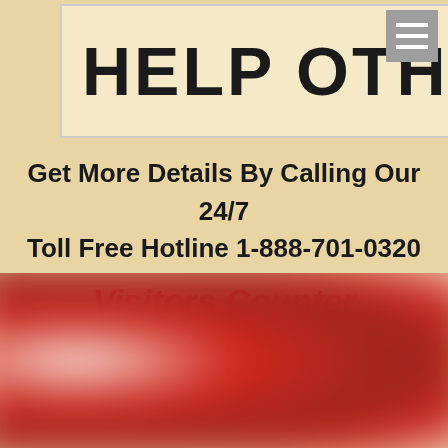[Figure (screenshot): Top banner with bold text 'HELP OTHERS' on a light cream background with a grey hamburger menu icon in the top right corner]
Get More Details By Calling Our 24/7 Toll Free Hotline 1-888-701-0320
Visitors Counter
675154
[Figure (photo): Blurred image of red and white objects at the bottom of the page]